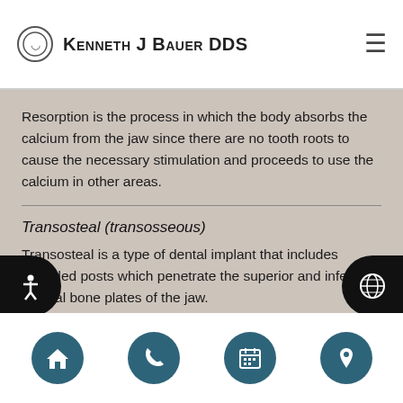Kenneth J Bauer DDS
Resorption is the process in which the body absorbs the calcium from the jaw since there are no tooth roots to cause the necessary stimulation and proceeds to use the calcium in other areas.
Transosteal (transosseous)
Transosteal is a type of dental implant that includes threaded posts which penetrate the superior and inferior cortical bone plates of the jaw.
Navigation footer with home, phone, calendar, and location icons